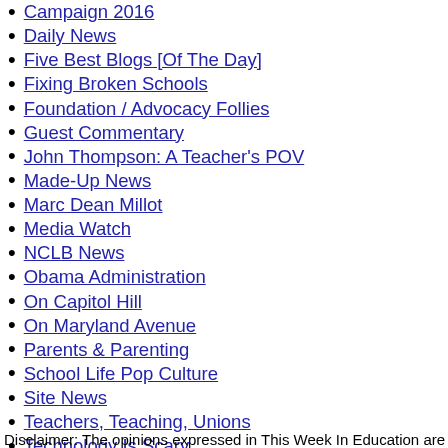Campaign 2016
Daily News
Five Best Blogs [Of The Day]
Fixing Broken Schools
Foundation / Advocacy Follies
Guest Commentary
John Thompson: A Teacher's POV
Made-Up News
Marc Dean Millot
Media Watch
NCLB News
Obama Administration
On Capitol Hill
On Maryland Avenue
Parents & Parenting
School Life Pop Culture
Site News
Teachers, Teaching, Unions
Technology Is Scary
The Business Of Education
Think Tank Mafia
Urban Ed
Disclaimer: The opinions expressed in This Week In Education are st...